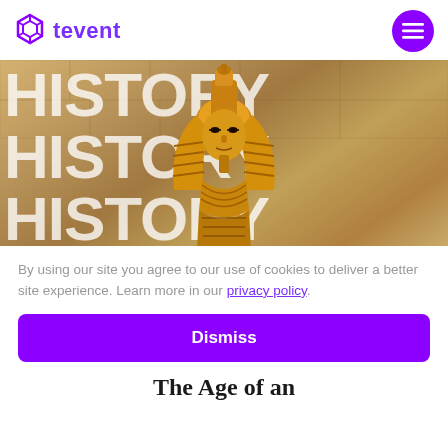tevent
[Figure (photo): Hero banner image showing an Egyptian pharaoh golden sphinx/mask overlaid on a sandy stone texture background with large bold white text reading HISTORY repeated three times in stacked rows]
By using our site you agree to our use of cookies to deliver a better site experience. Learn more in our privacy policy.
Dismiss
The Age of an...